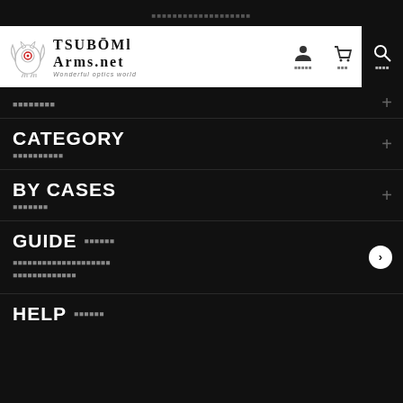■■■■■■■■■■■■■■■■■■■
[Figure (logo): TSUBOMI Arms.net logo with stylized owl/target icon, text 'TSUBOMI Arms.net' and tagline 'Wonderful optics world']
■■■■■■■■
CATEGORY ■■■■■■■■■■
BY CASES ■■■■■■■
GUIDE ■■■■■■
■■■■■■■■■■■■■■■■■■■■ ■■■■■■■■■■■■■
HELP ■■■■■■